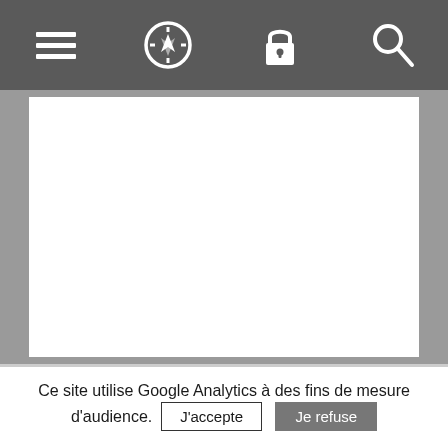[Figure (screenshot): Mobile browser toolbar with four icons: hamburger menu, compass/navigator, padlock, and search/magnifier on dark grey background]
[Figure (screenshot): Large white content area on grey background representing a blank webpage]
Ce site utilise Google Analytics à des fins de mesure d'audience. J'accepte Je refuse